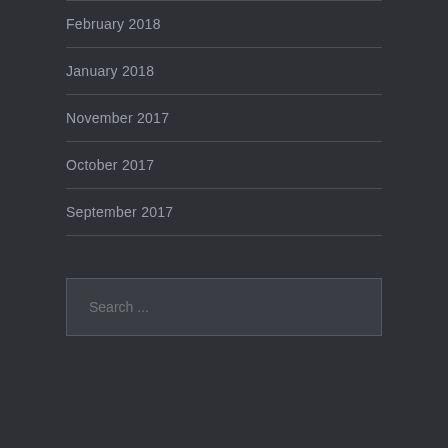February 2018
January 2018
November 2017
October 2017
September 2017
Search ...